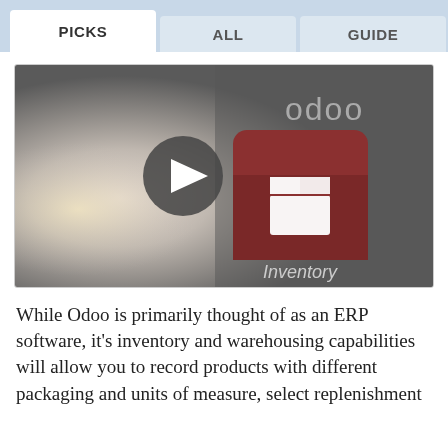PICKS | ALL | GUIDE
[Figure (screenshot): Odoo Inventory video thumbnail showing a person wrapping a package, with the Odoo logo and Inventory app icon overlay, and a play button in the center.]
While Odoo is primarily thought of as an ERP software, it's inventory and warehousing capabilities will allow you to record products with different packaging and units of measure, select replenishment